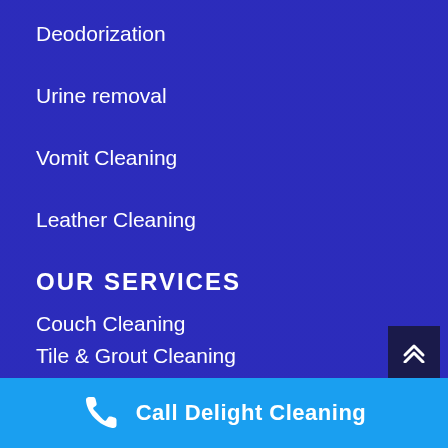Deodorization
Urine removal
Vomit Cleaning
Leather Cleaning
OUR SERVICES
Couch Cleaning
Tile & Grout Cleaning
Carpet & Upholstery Protector
Mattress Steam Cleaning
Call Delight Cleaning